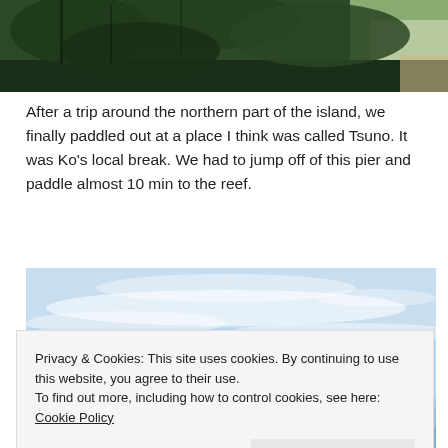[Figure (photo): Top strip showing dense tropical vegetation, palm trees, and sandy beach in the background]
After a trip around the northern part of the island, we finally paddled out at a place I think was called Tsuno. It was Ko’s local break. We had to jump off of this pier and paddle almost 10 min to the reef.
[Figure (photo): Wide panoramic photo showing a light blue sky with wispy clouds, and hints of shoreline/vegetation at the bottom edge]
Privacy & Cookies: This site uses cookies. By continuing to use this website, you agree to their use.
To find out more, including how to control cookies, see here: Cookie Policy
[Figure (photo): Bottom strip showing coastal vegetation and tropical landscape]